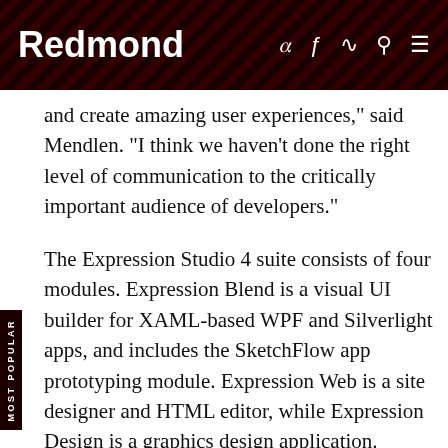Redmond
and create amazing user experiences," said Mendlen. "I think we haven't done the right level of communication to the critically important audience of developers."
The Expression Studio 4 suite consists of four modules. Expression Blend is a visual UI builder for XAML-based WPF and Silverlight apps, and includes the SketchFlow app prototyping module. Expression Web is a site designer and HTML editor, while Expression Design is a graphics design application. Expression Encoder is a digital video encoding application.
Of these, Expression Blend 4 is of greatest interest to Visual Studio developers, enabling them to manipulate working XAML code using rich, visual inter...